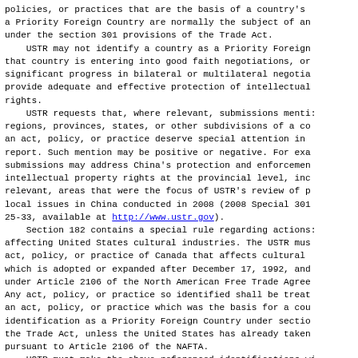policies, or practices that are the basis of a country's designation as a Priority Foreign Country are normally the subject of an investigation under the section 301 provisions of the Trade Act.
    USTR may not identify a country as a Priority Foreign Country if that country is entering into good faith negotiations, or making significant progress in bilateral or multilateral negotiations to provide adequate and effective protection of intellectual property rights.
    USTR requests that, where relevant, submissions mention regions, provinces, states, or other subdivisions of a country where an act, policy, or practice deserve special attention in the annual report. Such mention may be positive or negative. For example, submissions may address China's protection and enforcement of intellectual property rights at the provincial level, including, where relevant, areas that were the focus of USTR's review of provincial and local issues in China conducted in 2008 (2008 Special 301 Report, pp. 25-33, available at http://www.ustr.gov).
    Section 182 contains a special rule regarding actions or policies affecting United States cultural industries. The USTR must identify any act, policy, or practice of Canada that affects cultural industries, which is adopted or expanded after December 17, 1992, and is actionable under Article 2106 of the North American Free Trade Agreement (NAFTA). Any act, policy, or practice so identified shall be treated as if it were an act, policy, or practice which was the basis for a country's identification as a Priority Foreign Country under section 182(a)(2) of the Trade Act, unless the United States has already taken action pursuant to Article 2106 of the NAFTA.
    USTR must make the above-referenced identifications within 30 days after publication of the National Trade Estimate (NTE) report, or approximately April 30, 2009.